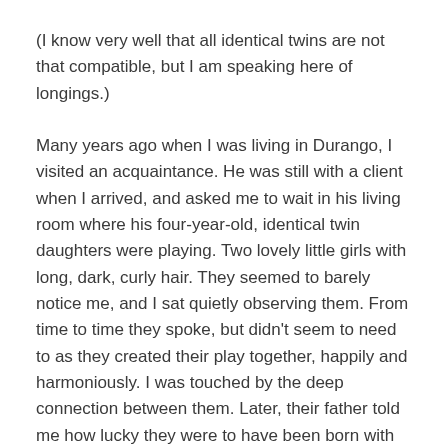(I know very well that all identical twins are not that compatible, but I am speaking here of longings.)
Many years ago when I was living in Durango, I visited an acquaintance. He was still with a client when I arrived, and asked me to wait in his living room where his four-year-old, identical twin daughters were playing. Two lovely little girls with long, dark, curly hair. They seemed to barely notice me, and I sat quietly observing them. From time to time they spoke, but didn't seem to need to as they created their play together, happily and harmoniously. I was touched by the deep connection between them. Later, their father told me how lucky they were to have been born with their very best friend.
Lily and Rose, identical twins in my upcoming novel The